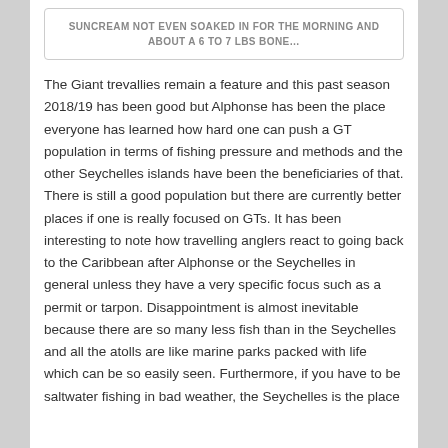SUNCREAM NOT EVEN SOAKED IN FOR THE MORNING AND ABOUT A 6 TO 7 LBS BONE…
The Giant trevallies remain a feature and this past season 2018/19 has been good but Alphonse has been the place everyone has learned how hard one can push a GT population in terms of fishing pressure and methods and the other Seychelles islands have been the beneficiaries of that. There is still a good population but there are currently better places if one is really focused on GTs. It has been interesting to note how travelling anglers react to going back to the Caribbean after Alphonse or the Seychelles in general unless they have a very specific focus such as a permit or tarpon. Disappointment is almost inevitable because there are so many less fish than in the Seychelles and all the atolls are like marine parks packed with life which can be so easily seen. Furthermore, if you have to be saltwater fishing in bad weather, the Seychelles is the place